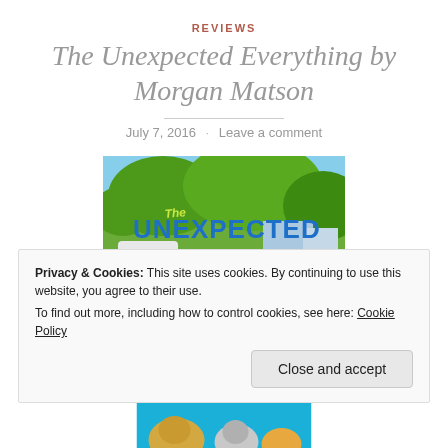REVIEWS
The Unexpected Everything by Morgan Matson
July 7, 2016 · Leave a comment
[Figure (photo): Book cover of 'The Unexpected Everything' by Morgan Matson — bright outdoor scene with bold blue and white text over green trees]
Privacy & Cookies: This site uses cookies. By continuing to use this website, you agree to their use. To find out more, including how to control cookies, see here: Cookie Policy
Close and accept
[Figure (photo): Partial bottom image showing dogs on a bright blue background]